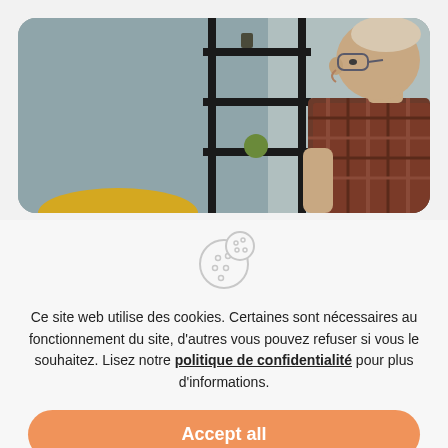[Figure (photo): Photo of an older man with glasses wearing a plaid shirt, seated in a room with a metal shelf unit on the wall behind him. The photo is cropped and displayed with rounded corners at the top of the page.]
[Figure (illustration): Cookie icon — a circular cookie with chocolate chip dots, with a smaller overlapping cookie circle, drawn in light gray outline style.]
Ce site web utilise des cookies. Certaines sont nécessaires au fonctionnement du site, d'autres vous pouvez refuser si vous le souhaitez. Lisez notre politique de confidentialité pour plus d'informations.
Accept all
Edit